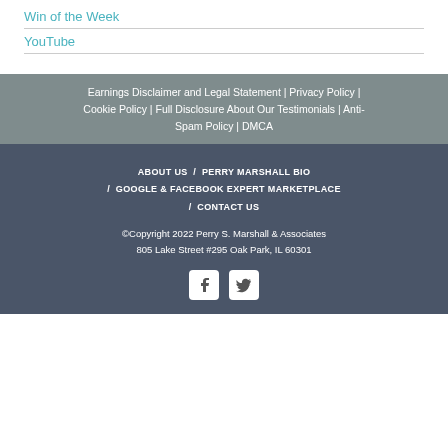Win of the Week
YouTube
Earnings Disclaimer and Legal Statement | Privacy Policy | Cookie Policy | Full Disclosure About Our Testimonials | Anti-Spam Policy | DMCA
ABOUT US / PERRY MARSHALL BIO / GOOGLE & FACEBOOK EXPERT MARKETPLACE / CONTACT US
©Copyright 2022 Perry S. Marshall & Associates
805 Lake Street #295 Oak Park, IL 60301